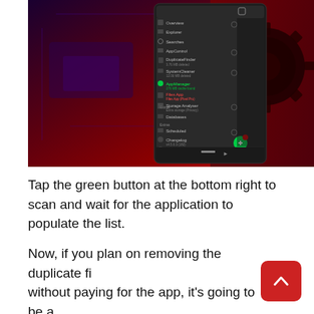[Figure (screenshot): Screenshot of a mobile app showing a dark-themed navigation menu with options like Overview, Explorer, Searches, AppControl, DuplicateFinder, SystemCleaner, and others, with a red and blue circuit board background. A green button is visible at the bottom right.]
Tap the green button at the bottom right to scan and wait for the application to populate the list.
Now, if you plan on removing the duplicate files without paying for the app, it's going to be a difficult or time consuming (if you're not really good with using your phone or have a lot of